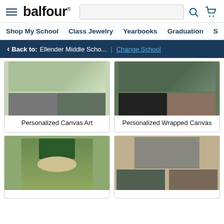balfour
Shop My School | Class Jewelry | Yearbooks | Graduation | Sc
Back to: Ellender Middle Scho... | Change School
[Figure (photo): Personalized Canvas Art product card with collage of women's photos]
Personalized Canvas Art
[Figure (photo): Personalized Wrapped Canvas product card with collage of graduation photos]
Personalized Wrapped Canvas
[Figure (photo): Bottom left product card with graduation photo of male student]
[Figure (photo): Bottom right product card with collage of graduation photos]